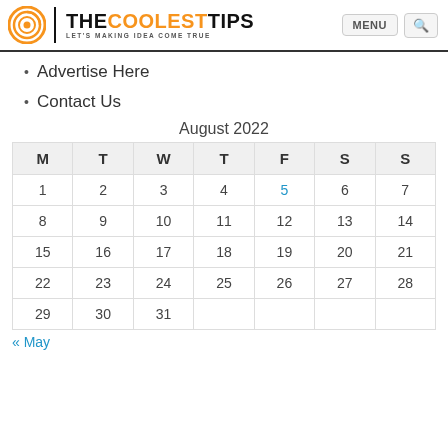THE COOLEST TIPS | LET'S MAKING IDEA COME TRUE | MENU [search]
Advertise Here
Contact Us
August 2022
| M | T | W | T | F | S | S |
| --- | --- | --- | --- | --- | --- | --- |
| 1 | 2 | 3 | 4 | 5 | 6 | 7 |
| 8 | 9 | 10 | 11 | 12 | 13 | 14 |
| 15 | 16 | 17 | 18 | 19 | 20 | 21 |
| 22 | 23 | 24 | 25 | 26 | 27 | 28 |
| 29 | 30 | 31 |  |  |  |  |
« May